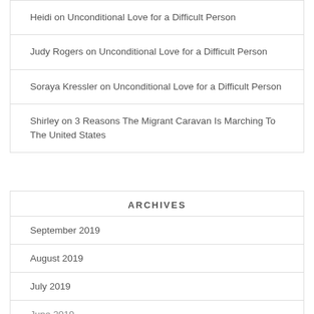Heidi on Unconditional Love for a Difficult Person
Judy Rogers on Unconditional Love for a Difficult Person
Soraya Kressler on Unconditional Love for a Difficult Person
Shirley on 3 Reasons The Migrant Caravan Is Marching To The United States
ARCHIVES
September 2019
August 2019
July 2019
June 2019